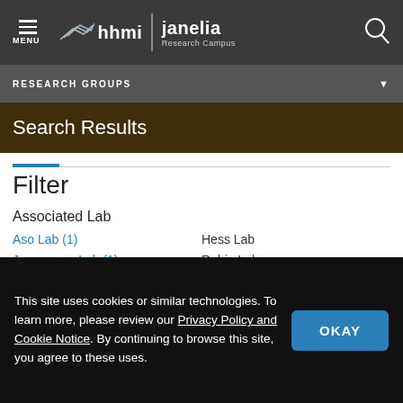MENU | hhmi janelia Research Campus
RESEARCH GROUPS
Search Results
Filter
Associated Lab
Aso Lab (1)
Hess Lab
Jayaraman Lab (1)
Rubin Lab
Saalfeld Lab (1)
Scheffer Lab (3)
This site uses cookies or similar technologies. To learn more, please review our Privacy Policy and Cookie Notice. By continuing to browse this site, you agree to these uses.